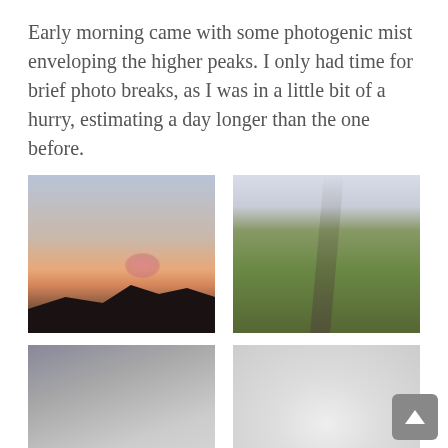Early morning came with some photogenic mist enveloping the higher peaks. I only had time for brief photo breaks, as I was in a little bit of a hurry, estimating a day longer than the one before.
[Figure (photo): Mountain silhouette at sunrise with pink/orange sky and a small pink cloud above the dark peaks]
[Figure (photo): Green mountain ridge with a rocky path/trail running diagonally, misty peaks in background]
[Figure (photo): Misty grey-toned landscape partially obscured by fog, diagonal light beams]
[Figure (photo): Bright white mist scene, heavily fog-covered landscape with bright diffuse light]